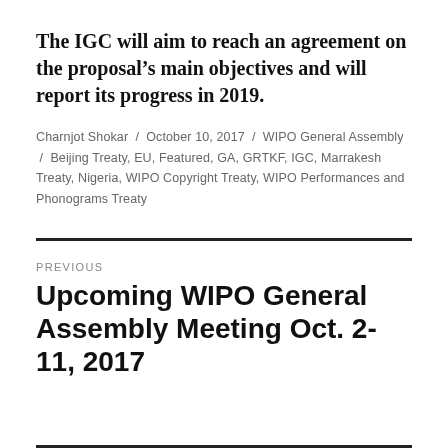The IGC will aim to reach an agreement on the proposal’s main objectives and will report its progress in 2019.
Charnjot Shokar / October 10, 2017 / WIPO General Assembly / Beijing Treaty, EU, Featured, GA, GRTKF, IGC, Marrakesh Treaty, Nigeria, WIPO Copyright Treaty, WIPO Performances and Phonograms Treaty
PREVIOUS
Upcoming WIPO General Assembly Meeting Oct. 2-11, 2017